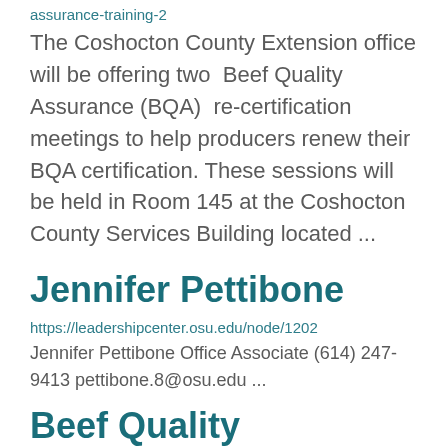assurance-training-2
The Coshocton County Extension office will be offering two  Beef Quality Assurance (BQA)  re-certification meetings to help producers renew their BQA certification. These sessions will be held in Room 145 at the Coshocton County Services Building located ...
Jennifer Pettibone
https://leadershipcenter.osu.edu/node/1202
Jennifer Pettibone Office Associate (614) 247-9413 pettibone.8@osu.edu ...
Beef Quality Assurance Training